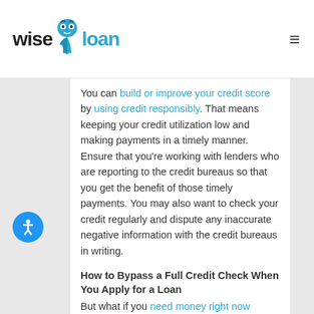wise loan
You can build or improve your credit score by using credit responsibly. That means keeping your credit utilization low and making payments in a timely manner. Ensure that you're working with lenders who are reporting to the credit bureaus so that you get the benefit of those timely payments. You may also want to check your credit regularly and dispute any inaccurate negative information with the credit bureaus in writing.
How to Bypass a Full Credit Check When You Apply for a Loan
But what if you need money right now